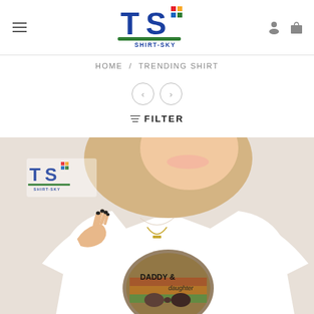[Figure (logo): Shirt-Sky logo with TS letters in blue, green underline, colorful dots]
HOME / TRENDING SHIRT
[Figure (other): Navigation arrows left and right in circular buttons]
≡ FILTER
[Figure (photo): Woman wearing white t-shirt with Daddy & Daughter graphic print, blonde hair, smiling, with Shirt-Sky watermark logo]